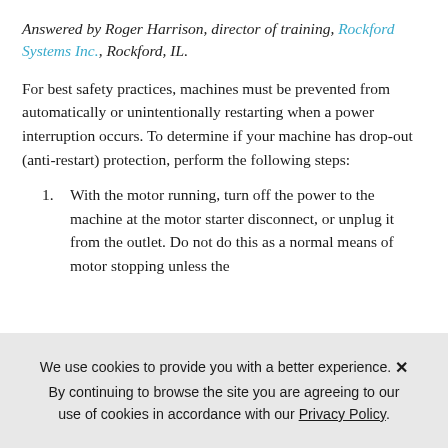Answered by Roger Harrison, director of training, Rockford Systems Inc., Rockford, IL.
For best safety practices, machines must be prevented from automatically or unintentionally restarting when a power interruption occurs. To determine if your machine has drop-out (anti-restart) protection, perform the following steps:
With the motor running, turn off the power to the machine at the motor starter disconnect, or unplug it from the outlet. Do not do this as a normal means of motor stopping unless the
We use cookies to provide you with a better experience. By continuing to browse the site you are agreeing to our use of cookies in accordance with our Privacy Policy.